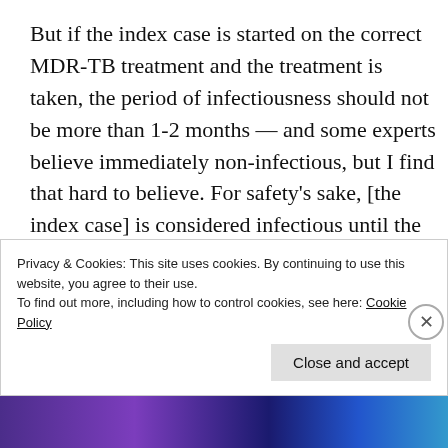But if the index case is started on the correct MDR-TB treatment and the treatment is taken, the period of infectiousness should not be more than 1-2 months — and some experts believe immediately non-infectious, but I find that hard to believe. For safety's sake, [the index case] is considered infectious until the individual is at least smear-negative for acid-fast TB bacilli twice over a period of >1 month. If these individuals interrupt treatment, they may become infectious
Privacy & Cookies: This site uses cookies. By continuing to use this website, you agree to their use.
To find out more, including how to control cookies, see here: Cookie Policy